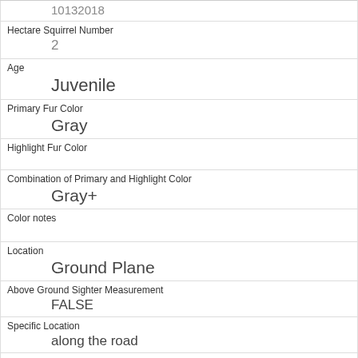| Hectare Squirrel Number | 2 |
| Age | Juvenile |
| Primary Fur Color | Gray |
| Highlight Fur Color |  |
| Combination of Primary and Highlight Color | Gray+ |
| Color notes |  |
| Location | Ground Plane |
| Above Ground Sighter Measurement | FALSE |
| Specific Location | along the road |
| Running | 0 |